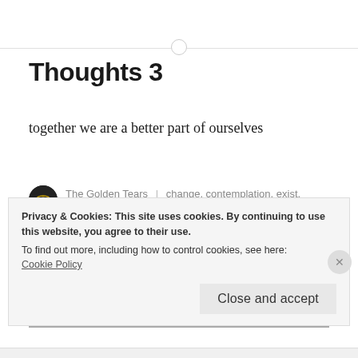Thoughts 3
together we are a better part of ourselves
The Golden Tears | change, contemplation, exist, Friends, inspiration, Life, mankind, pathway, reflection, Searching, self, thegoldentears, Thoughts | MARCH 3, 2022
Privacy & Cookies: This site uses cookies. By continuing to use this website, you agree to their use.
To find out more, including how to control cookies, see here: Cookie Policy
Close and accept